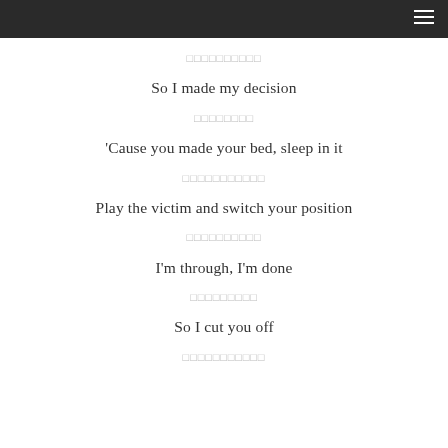navigation menu bar
░░░░░░░░░░
So I made my decision
░░░░░░░░
'Cause you made your bed, sleep in it
░░░░░░░░░░░
Play the victim and switch your position
░░░░░░░░░░
I'm through, I'm done
░░░░░░░░░
So I cut you off
░░░░░░░░░░░